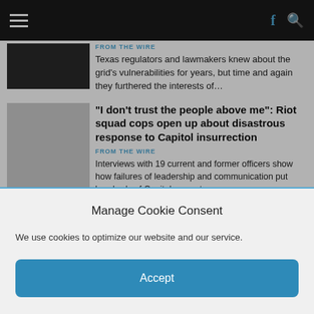Navigation bar with hamburger menu, Facebook icon, and search icon
Texas regulators and lawmakers knew about the grid's vulnerabilities for years, but time and again they furthered the interests of…
FROM THE WIRE
“I don’t trust the people above me”: Riot squad cops open up about disastrous response to Capitol insurrection
FROM THE WIRE
Interviews with 19 current and former officers show how failures of leadership and communication put hundreds of Capitol cops at…
The Boogaloo Bois Have Guns, Criminal Records and Military Training. Now They
Manage Cookie Consent
We use cookies to optimize our website and our service.
Accept